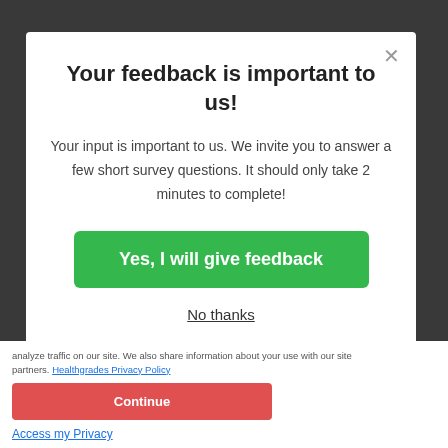Your feedback is important to us!
Your input is important to us. We invite you to answer a few short survey questions. It should only take 2 minutes to complete!
Yes, I will give feedback
No thanks
analyze traffic on our site. We also share information about your use with our site partners. Healthgrades Privacy Policy
Continue
Access my Privacy